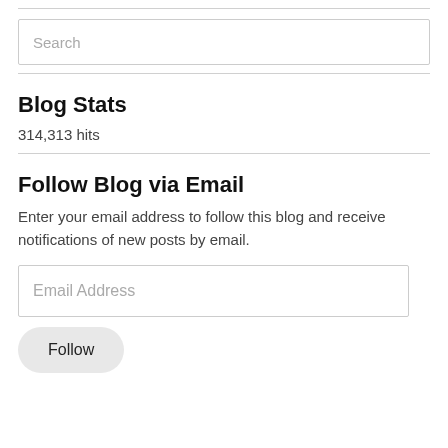Search
Blog Stats
314,313 hits
Follow Blog via Email
Enter your email address to follow this blog and receive notifications of new posts by email.
Email Address
Follow